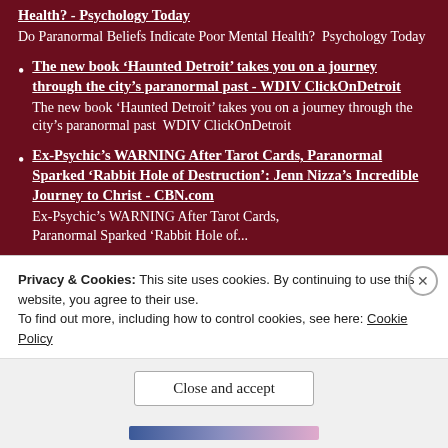Health? - Psychology Today
Do Paranormal Beliefs Indicate Poor Mental Health?  Psychology Today
The new book ‘Haunted Detroit’ takes you on a journey through the city’s paranormal past - WDIV ClickOnDetroit
The new book ‘Haunted Detroit’ takes you on a journey through the city’s paranormal past  WDIV ClickOnDetroit
Ex-Psychic’s WARNING After Tarot Cards, Paranormal Sparked ‘Rabbit Hole of Destruction’: Jenn Nizza’s Incredible Journey to Christ - CBN.com
Ex-Psychic’s WARNING After Tarot Cards, Paranormal Sparked ‘Rabbit Hole of...
Privacy & Cookies: This site uses cookies. By continuing to use this website, you agree to their use.
To find out more, including how to control cookies, see here: Cookie Policy
Close and accept